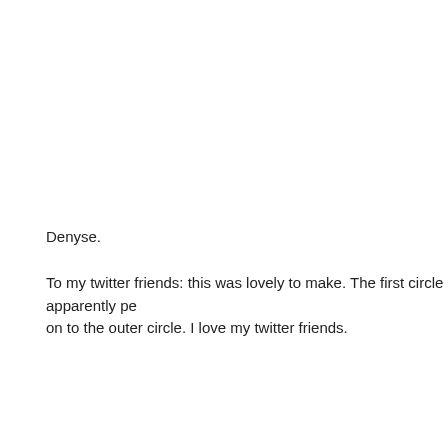Denyse.
To my twitter friends: this was lovely to make. The first circle apparently pe on to the outer circle. I love my twitter friends.